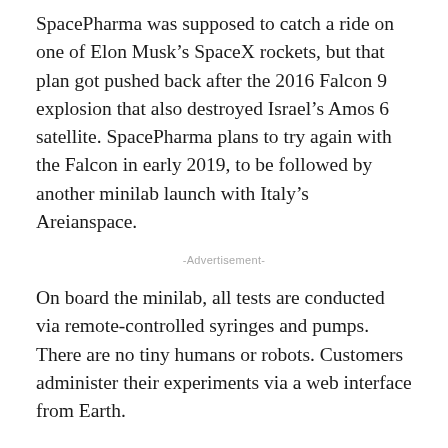SpacePharma was supposed to catch a ride on one of Elon Musk's SpaceX rockets, but that plan got pushed back after the 2016 Falcon 9 explosion that also destroyed Israel's Amos 6 satellite. SpacePharma plans to try again with the Falcon in early 2019, to be followed by another minilab launch with Italy's Areianspace.
-Advertisement-
On board the minilab, all tests are conducted via remote-controlled syringes and pumps. There are no tiny humans or robots. Customers administer their experiments via a web interface from Earth.
“When there are no G-forces, everything grows and reacts much more clearly than on Earth,” SpacePharma chairman Yossi Yamin tells